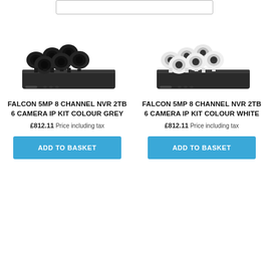[Figure (screenshot): Top search bar input element with border]
[Figure (photo): Falcon 5MP 8 Channel NVR 2TB 6 Camera IP Kit in grey colour - security camera system with NVR box and 6 dome cameras in dark grey/black colour]
FALCON 5MP 8 CHANNEL NVR 2TB 6 CAMERA IP KIT COLOUR GREY
£812.11 Price including tax
ADD TO BASKET
[Figure (photo): Falcon 5MP 8 Channel NVR 2TB 6 Camera IP Kit in white colour - security camera system with NVR box and 6 dome cameras in white colour]
FALCON 5MP 8 CHANNEL NVR 2TB 6 CAMERA IP KIT COLOUR WHITE
£812.11 Price including tax
ADD TO BASKET